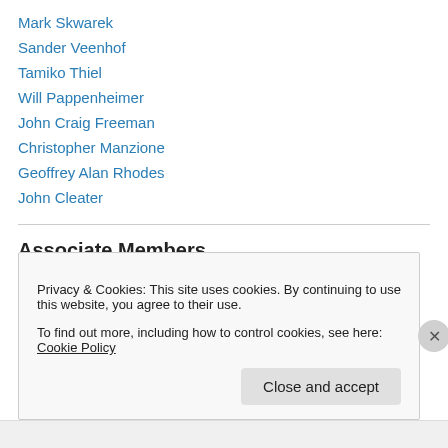Mark Skwarek
Sander Veenhof
Tamiko Thiel
Will Pappenheimer
John Craig Freeman
Christopher Manzione
Geoffrey Alan Rhodes
John Cleater
Associate Members
Lily & Honglei
Privacy & Cookies: This site uses cookies. By continuing to use this website, you agree to their use.
To find out more, including how to control cookies, see here: Cookie Policy
Close and accept